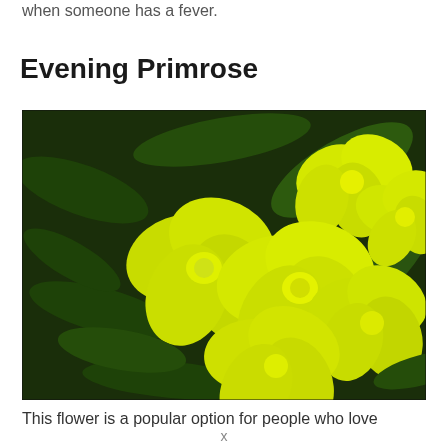when someone has a fever.
Evening Primrose
[Figure (photo): Close-up photograph of bright yellow Evening Primrose flowers with four rounded petals each, set against a background of dark green leaves. Multiple blooms visible at various angles.]
This flower is a popular option for people who love
x